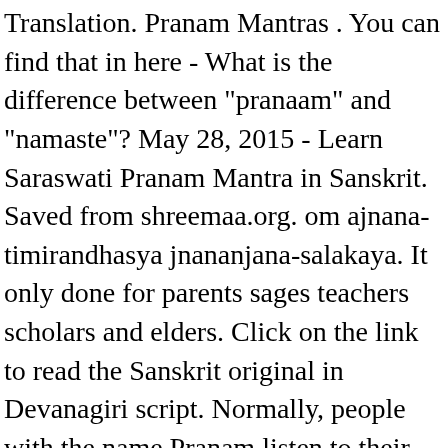Translation. Pranam Mantras . You can find that in here - What is the difference between "pranaam" and "namaste"? May 28, 2015 - Learn Saraswati Pranam Mantra in Sanskrit. Saved from shreemaa.org. om ajnana-timirandhasya jnananjana-salakaya. It only done for parents sages teachers scholars and elders. Click on the link to read the Sanskrit original in Devanagiri script. Normally, people with the name Pranam listen to their heart rather than using their brain. Pronunciation: Sa-vi-t-re Meaning: We pray to the